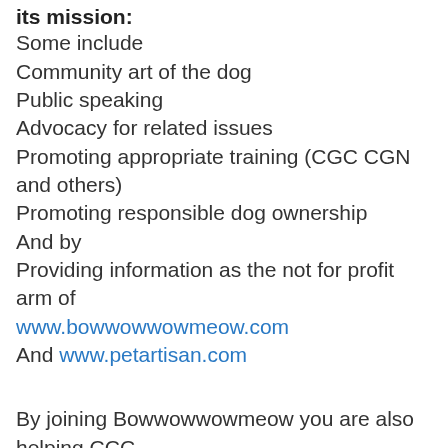its mission:
Some include
Community art of the dog
Public speaking
Advocacy for related issues
Promoting appropriate training (CGC CGN and others)
Promoting responsible dog ownership
And by
Providing information as the not for profit arm of www.bowwowwowmeow.com
And www.petartisan.com
By joining Bowwowwowmeow you are also helping CCC
Click here to join now
Membership at Bowwowwowmeow